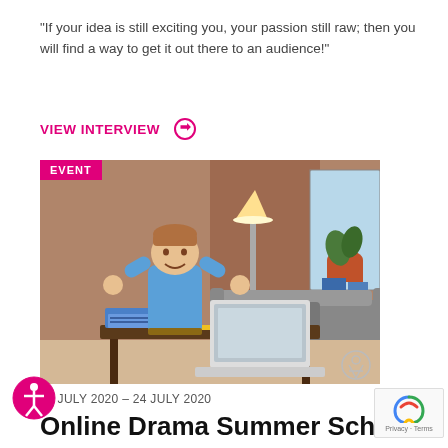"If your idea is still exciting you, your passion still raw; then you will find a way to get it out there to an audience!"
VIEW INTERVIEW →
[Figure (photo): A young boy in a blue long-sleeve shirt sitting at a desk with a laptop, notebooks, and pencils, pumping his fists in excitement. The background shows a living room with a sofa, lamp, brick wall, and potted plant. An EVENT badge appears in the top-left corner of the image.]
20 JULY 2020 – 24 JULY 2020
Online Drama Summer School
by Adam Milford